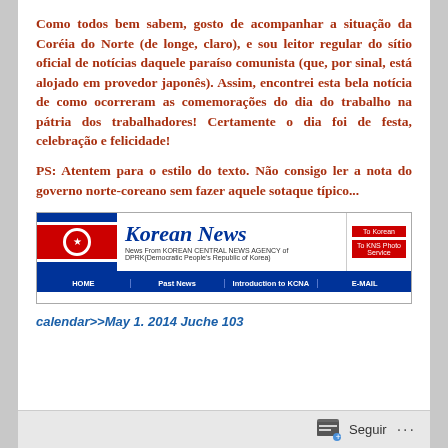Como todos bem sabem, gosto de acompanhar a situação da Coréia do Norte (de longe, claro), e sou leitor regular do sítio oficial de notícias daquele paraíso comunista (que, por sinal, está alojado em provedor japonês). Assim, encontrei esta bela notícia de como ocorreram as comemorações do dia do trabalho na pátria dos trabalhadores! Certamente o dia foi de festa, celebração e felicidade!
PS: Atentem para o estilo do texto. Não consigo ler a nota do governo norte-coreano sem fazer aquele sotaque típico...
[Figure (screenshot): Screenshot of Korean News (KCNA) website header showing logo, navigation bar with HOME, Past News, Introduction to KCNA, E-MAIL links, and North Korean flag]
calendar>>May 1. 2014 Juche 103
Seguir